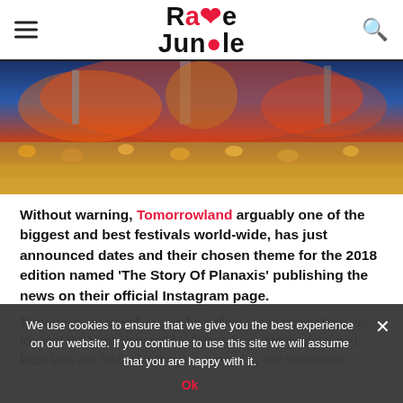Rave Jungle
[Figure (photo): Festival crowd at Tomorrowland with colorful stage decorations and large crowd]
Without warning, Tomorrowland arguably one of the biggest and best festivals world-wide, has just announced dates and their chosen theme for the 2018 edition named 'The Story Of Planaxis' publishing the news on their official Instagram page.
Tomorrowland is well-known for selling out in record time, so, to meet the huge demand for tickets from international and local fans the festival will again expand to two weekends
We use cookies to ensure that we give you the best experience on our website. If you continue to use this site we will assume that you are happy with it.